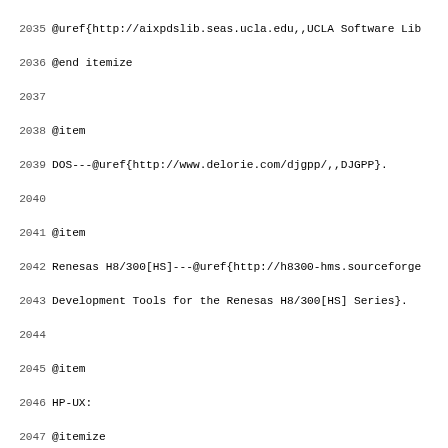2035 @uref{http://aixpdslib.seas.ucla.edu,,UCLA Software Lib
2036 @end itemize
2037
2038 @item
2039 DOS---@uref{http://www.delorie.com/djgpp/,,DJGPP}.
2040
2041 @item
2042 Renesas H8/300[HS]---@uref{http://h8300-hms.sourceforge
2043 Development Tools for the Renesas H8/300[HS] Series}.
2044
2045 @item
2046 HP-UX:
2047 @itemize
2048 @item
2049 @uref{http://hpux.cae.wisc.edu/,,HP-UX Porting Center};
2050
2051 @item
2052 @uref{ftp://sunsite.informatik.rwth-aachen.de/pub/packa
2053 @end itemize
2054
2055 @item
2056 Motorola 68HC11/68HC12---@uref{http://www.gnu-m68hc11.c
2057 Development Tools for the Motorola 68HC11/68HC12}.
2058
2059 @item
2060 @uref{http://www.sco.com/skunkware/devtools/index.html#
2061 OpenServer/Unixware}.
2062
2063 @item
2064 Sinix/Reliant Unix---@uref{ftp://ftp.fujitsu-siemens.co
2065
2066 @item